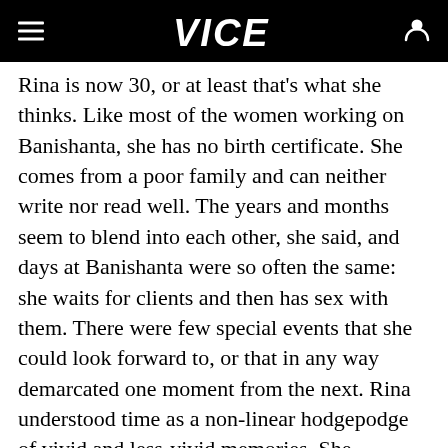VICE
Rina is now 30, or at least that's what she thinks. Like most of the women working on Banishanta, she has no birth certificate. She comes from a poor family and can neither write nor read well. The years and months seem to blend into each other, she said, and days at Banishanta were so often the same: she waits for clients and then has sex with them. There were few special events that she could look forward to, or that in any way demarcated one moment from the next. Rina understood time as a non-linear hodgepodge of vivid and less-vivid memories. She travelled through life with her back to the future, so to speak, staring at this jumble of